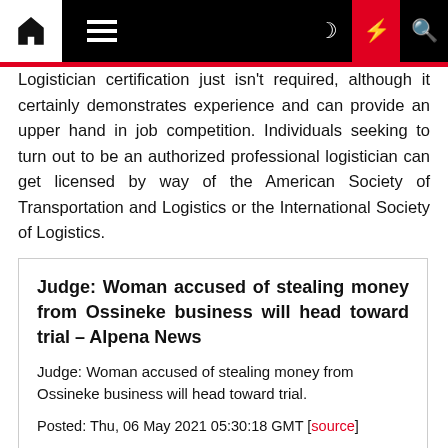Navigation bar with home, menu, dark mode, lightning (red), and search icons
Logistician certification just isn't required, although it certainly demonstrates experience and can provide an upper hand in job competition. Individuals seeking to turn out to be an authorized professional logistician can get licensed by way of the American Society of Transportation and Logistics or the International Society of Logistics.
Judge: Woman accused of stealing money from Ossineke business will head toward trial – Alpena News
Judge: Woman accused of stealing money from Ossineke business will head toward trial.
Posted: Thu, 06 May 2021 05:30:18 GMT [source]